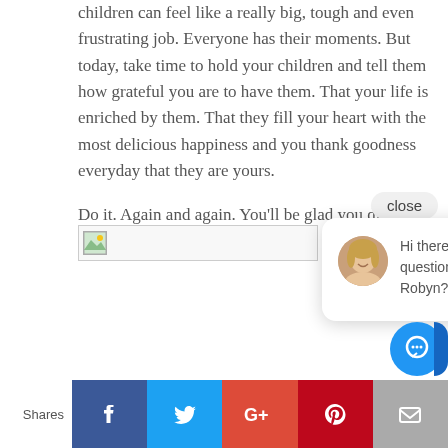children can feel like a really big, tough and even frustrating job. Everyone has their moments. But today, take time to hold your children and tell them how grateful you are to have them. That your life is enriched by them. That they fill your heart with the most delicious happiness and you thank goodness everyday that they are yours.
Do it. Again and again. You'll be glad you did.
[Figure (screenshot): Chat popup with avatar of Dr. Robyn and message: Hi there, have a question for Dr. Robyn? Text us here.]
[Figure (screenshot): Social share bar with Facebook, Twitter, Google+, Pinterest, Email buttons and Shares label. Blue chat FAB button on right.]